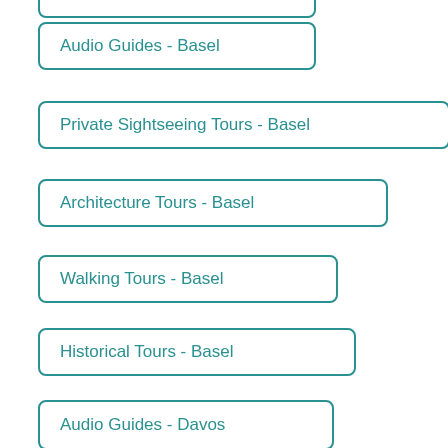Audio Guides - Basel
Private Sightseeing Tours - Basel
Architecture Tours - Basel
Walking Tours - Basel
Historical Tours - Basel
Audio Guides - Davos
Private Sightseeing Tours - Davos
Architecture Tours - Davos